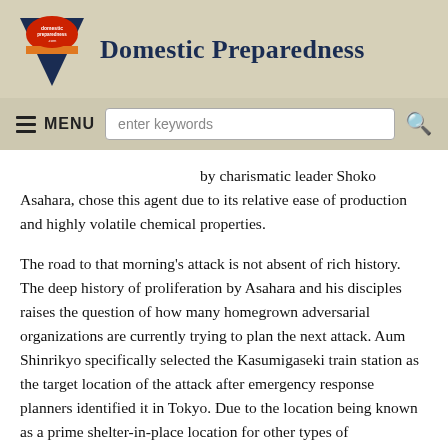Domestic Preparedness
by charismatic leader Shoko Asahara, chose this agent due to its relative ease of production and highly volatile chemical properties.
The road to that morning's attack is not absent of rich history. The deep history of proliferation by Asahara and his disciples raises the question of how many homegrown adversarial organizations are currently trying to plan the next attack. Aum Shinrikyo specifically selected the Kasumigaseki train station as the target location of the attack after emergency response planners identified it in Tokyo. Due to the location being known as a prime shelter-in-place location for other types of emergencies, Asahara wrote of this selected location just months before the attacks in his monthly writings to his followers, which were presented as evidence at his 1999 trial. Choosing the location during the morning rush hour